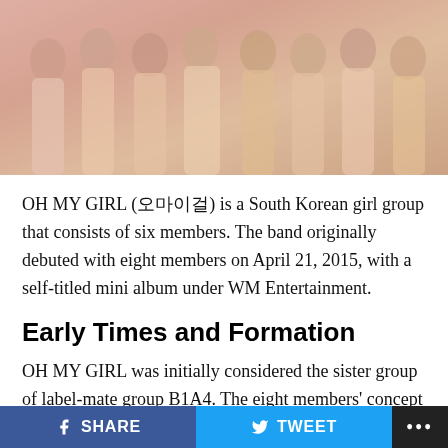[Figure (photo): Group photo of OH MY GIRL members posing together, wearing pastel/nude toned outfits against a light background.]
OH MY GIRL (오마이걸) is a South Korean girl group that consists of six members. The band originally debuted with eight members on April 21, 2015, with a self-titled mini album under WM Entertainment.
Early Times and Formation
OH MY GIRL was initially considered the sister group of label-mate group B1A4. The eight members' concept and teaser photos were public on March 26, 2015.
SHARE   TWEET   ...